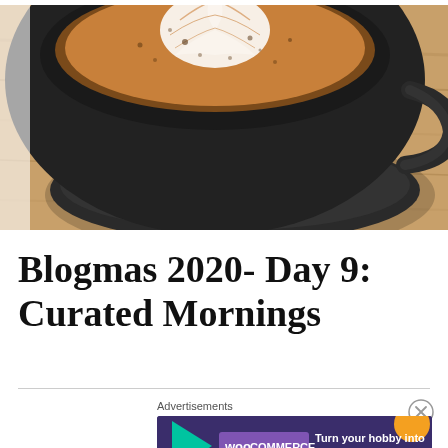[Figure (photo): Close-up overhead photo of a black ceramic coffee cup with latte art (white milk foam in a leaf/heart pattern) on a wooden surface. The cup is shown from above at close range, filling most of the frame.]
Blogmas 2020- Day 9: Curated Mornings
[Figure (other): WooCommerce advertisement banner: dark purple background with teal triangle shape on left, orange and blue blobs on right. White text reads 'Turn your hobby into a business in 8 steps'. WooCommerce logo in purple box on left.]